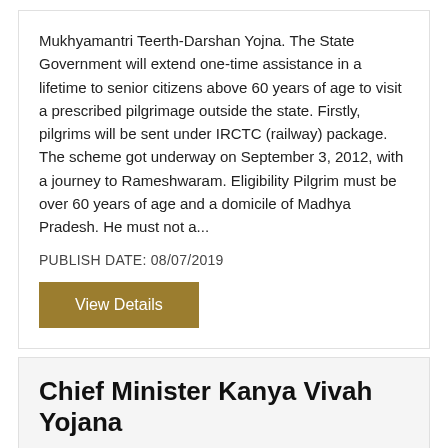Mukhyamantri Teerth-Darshan Yojna. The State Government will extend one-time assistance in a lifetime to senior citizens above 60 years of age to visit a prescribed pilgrimage outside the state. Firstly, pilgrims will be sent under IRCTC (railway) package. The scheme got underway on September 3, 2012, with a journey to Rameshwaram. Eligibility Pilgrim must be over 60 years of age and a domicile of Madhya Pradesh. He must not a...
PUBLISH DATE: 08/07/2019
View Details
Chief Minister Kanya Vivah Yojana
Under the Department of Madhya Pradesh Government, Social Justice and Free Power Welfare Department, Deendayal Antyodaya Mission was established keeping in view the spirit of the common people and their involvement in helping the disabled, poor and weaker families of the state. Under this